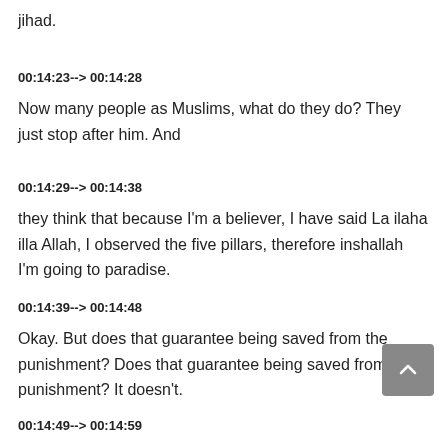jihad.
00:14:23--> 00:14:28
Now many people as Muslims, what do they do? They just stop after him. And
00:14:29--> 00:14:38
they think that because I'm a believer, I have said La ilaha illa Allah, I observed the five pillars, therefore inshallah I'm going to paradise.
00:14:39--> 00:14:48
Okay. But does that guarantee being saved from the punishment? Does that guarantee being saved from the punishment? It doesn't.
00:14:49--> 00:14:59